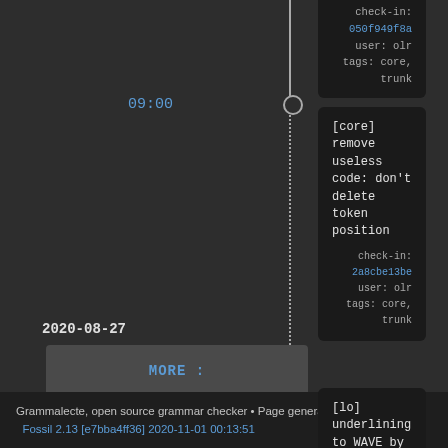check-in: 050f949f8a user: olr
tags: core, trunk
09:00
[core] remove useless code: don't delete token position
check-in: 2a8cbe13be user: olr
tags: core, trunk
2020-08-27
09:22
[lo] underlining to WAVE by default, thanks to LibreOffice 7 bug
check-in: 6eb51c360e user: olr
tags: lo, trunk
MORE :
Grammalecte, open source grammar checker • Page generated in about 0.034s    Fossil 2.13 [e7bba4ff36] 2020-11-01 00:13:51